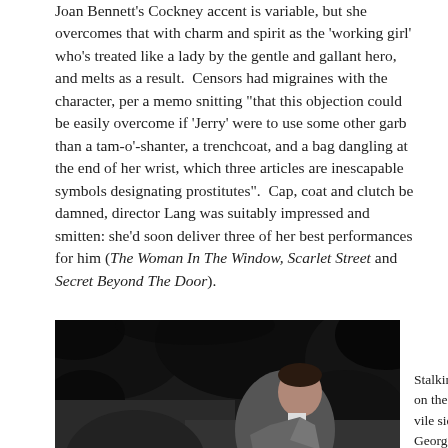Joan Bennett's Cockney accent is variable, but she overcomes that with charm and spirit as the 'working girl' who's treated like a lady by the gentle and gallant hero, and melts as a result.  Censors had migraines with the character, per a memo snitting "that this objection could be easily overcome if 'Jerry' were to use some other garb than a tam-o'-shanter, a trenchcoat, and a bag dangling at the end of her wrist, which three articles are inescapable symbols designating prostitutes".  Cap, coat and clutch be damned, director Lang was suitably impressed and smitten: she'd soon deliver three of her best performances for him (The Woman In The Window, Scarlet Street and Secret Beyond The Door).
[Figure (photo): Black and white still photograph showing a man in a suit jacket leaning forward in a dark, shadowy outdoor setting with foliage in the background.]
Stalking on the vile side, George Sanders and John Carradine